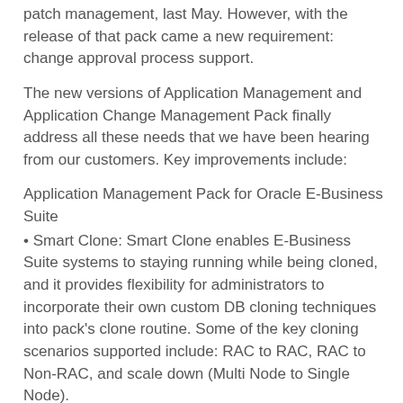patch management, last May. However, with the release of that pack came a new requirement: change approval process support.
The new versions of Application Management and Application Change Management Pack finally address all these needs that we have been hearing from our customers. Key improvements include:
Application Management Pack for Oracle E-Business Suite
• Smart Clone: Smart Clone enables E-Business Suite systems to staying running while being cloned, and it provides flexibility for administrators to incorporate their own custom DB cloning techniques into pack's clone routine. Some of the key cloning scenarios supported include: RAC to RAC, RAC to Non-RAC, and scale down (Multi Node to Single Node).
• Concurrent Processing Dashboard: Administrators now have the ability to monitor and manage Concurrent Managers and Concurrent Programs through a intuitive dashboard. The new dashboard provides a detailed overview on the efficiency of Concurrent Managers in processing